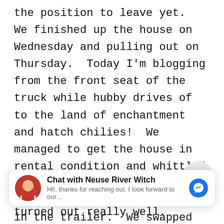the position to leave yet.  We finished up the house on Wednesday and pulling out on Thursday.  Today I'm blogging from the front seat of the truck while hubby drives of to the land of enchantment and hatch chilies!  We managed to get the house in rental condition and whittled down our belongings to only those things that would fit in the trailer.  We swapped out our anchors for wheels and we're going to try living minimally.
V
[Figure (screenshot): Facebook Messenger chat widget showing 'Chat with Neuse River Witch' with avatar, subtitle 'Hi!, thanks for reaching out. I look forward to our...' and a blue Messenger icon button.]
turned out really well.